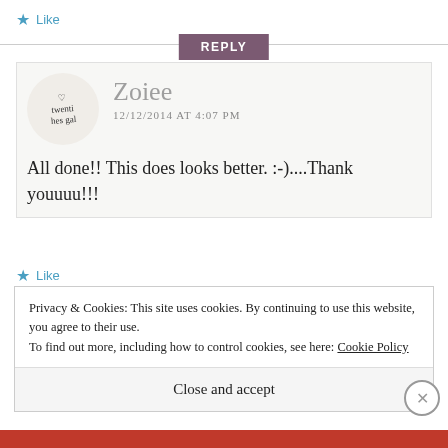★ Like
REPLY
Zoiee
12/12/2014 AT 4:07 PM
All done!! This does looks better. :-)....Thank youuuu!!!
★ Like
Privacy & Cookies: This site uses cookies. By continuing to use this website, you agree to their use.
To find out more, including how to control cookies, see here: Cookie Policy
Close and accept